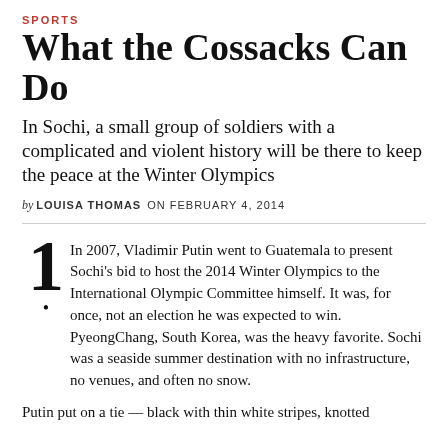SPORTS
What the Cossacks Can Do
In Sochi, a small group of soldiers with a complicated and violent history will be there to keep the peace at the Winter Olympics
by LOUISA THOMAS  ON FEBRUARY 4, 2014
1. In 2007, Vladimir Putin went to Guatemala to present Sochi's bid to host the 2014 Winter Olympics to the International Olympic Committee himself. It was, for once, not an election he was expected to win. PyeongChang, South Korea, was the heavy favorite. Sochi was a seaside summer destination with no infrastructure, no venues, and often no snow.
Putin put on a tie — black with thin white stripes, knotted